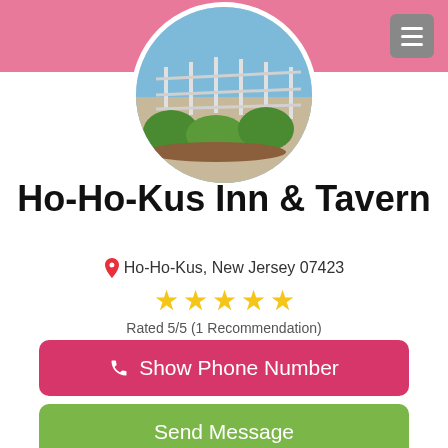[Figure (photo): Circular photo of Ho-Ho-Kus Inn & Tavern exterior showing porch with metal railings and green bushes]
Ho-Ho-Kus Inn & Tavern
Ho-Ho-Kus, New Jersey 07423
[Figure (other): 5 gold stars rating]
Rated 5/5 (1 Recommendation)
Show Phone Number
Send Message
Write a Review
MAKE A CONNECTION Ho-Ho-Kus Inn & Tavern is